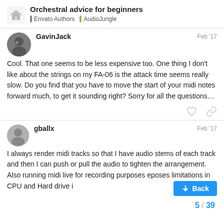Orchestral advice for beginners | Envato Authors | AudioJungle
GavinJack  Feb '17
Cool. That one seems to be less expensive too. One thing I don't like about the strings on my FA-06 is the attack time seems really slow. Do you find that you have to move the start of your midi notes forward much, to get it sounding right? Sorry for all the questions…
gballx  Feb '17
I always render midi tracks so that I have audio stems of each track and then I can push or pull the audio to tighten the arrangement. Also running midi live for recording purposes eposes limitations in CPU and Hard drive i